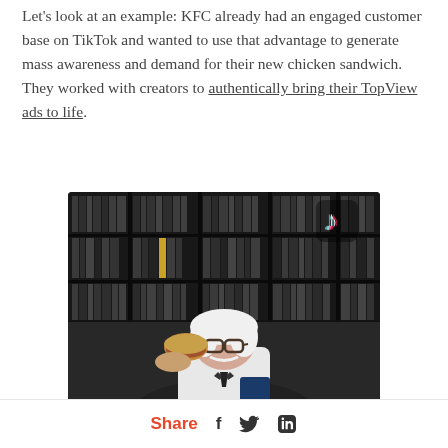Let's look at an example: KFC already had an engaged customer base on TikTok and wanted to use that advantage to generate mass awareness and demand for their new chicken sandwich. They worked with creators to authentically bring their TopView ads to life.
[Figure (photo): A person dressed as Colonel Sanders (white hair, glasses, white suit) holding up a chicken sandwich, standing in front of shelves of vinyl records. A TikTok logo is visible in the upper right corner of the image.]
Share  f  [twitter bird]  in